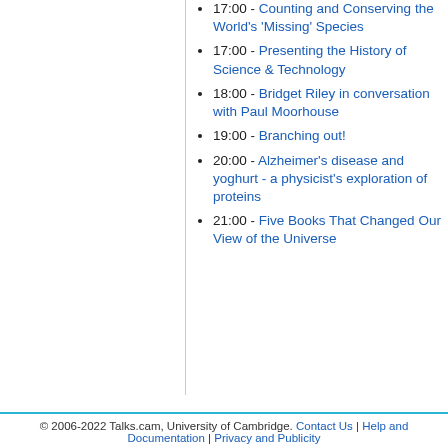17:00 - Counting and Conserving the World's 'Missing' Species
17:00 - Presenting the History of Science & Technology
18:00 - Bridget Riley in conversation with Paul Moorhouse
19:00 - Branching out!
20:00 - Alzheimer's disease and yoghurt - a physicist's exploration of proteins
21:00 - Five Books That Changed Our View of the Universe
© 2006-2022 Talks.cam, University of Cambridge. Contact Us | Help and Documentation | Privacy and Publicity